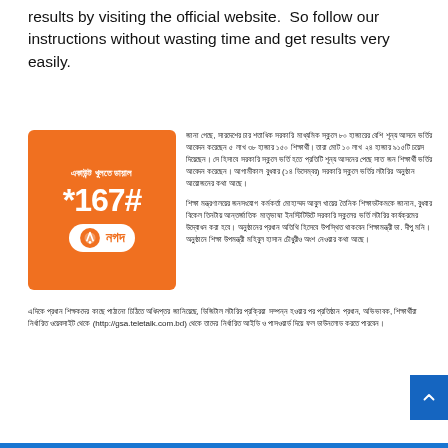results by visiting the official website.  So follow our instructions without wasting time and get results very easily.
[Figure (infographic): Nagad mobile banking advertisement - orange box with Bengali text 'একাউন্ট খুলতে ডায়াল' and USSD code *167# with Nagad logo]
জানা গেছে, সারদেশের চার শতাধিক সরকারি মাধ্যমিক স্কুলে ৮০ হাজারের বেশি শূন্য আসনে ভর্তির আবেদন করেছেন ৫ লাখ ৩৮ হাজার ১৫০ শিক্ষার্থী। তারা মোট ১০ লাখ ২৪ হাজার ৯১৫টি চয়েস দিয়েছেন। সে হিসাবে সরকারি স্কুলে ভর্তি হতে প্রতিটি শূন্য আসনের পেছে সাত জন শিক্ষার্থী ভর্তির আবেদন করেছেন। আগামীকাল বুধবার (১৪ ডিসেম্বর) সরকারি স্কুলে ভর্তির লটারির অনুষ্ঠান আয়োজনের কথা আছে।
শিক্ষা মন্ত্রণালয়ের জনসংযোগ কর্মকর্তা মোহাম্মদ আবুল খায়ের তৈনিক শিক্ষাডটকমকে জানান, বুধবার বিকেল তিনটায় আন্তর্জাতিক মাতৃভাষা ইনস্টিটিউটে সরকারি স্কুলের ভর্তি লটারির কার্যক্রমের উদ্বোধন করা হবে। অনুষ্ঠানের প্রধান অতিথি হিসেবে উপস্থিত থাকবেন শিক্ষামন্ত্রী ডা. দীপু মনি। অনুষ্ঠানে শিক্ষা উপমন্ত্রী মহিবুল হাসান চৌধুরীও অংশ নেওয়ার কথা আছে।
এদিকে প্রধান শিক্ষকদের কাছে পাঠানো চিঠিতে অধিদপ্তর জানিয়েছে, ডিজিটাল লটারির প্রক্রিয়া সম্পন্ন হওয়ার পর প্রতিষ্ঠান প্রধান, অভিভাবক, শিক্ষার্থীরা নির্ধারিত ওয়েবসাইট থেকে (http://gsa.teletalk.com.bd) থেকে তাদের নির্ধারিত আইডি ও পাসওয়ার্ড দিয়ে ফল ডাউনলোড করতে পারবেন।